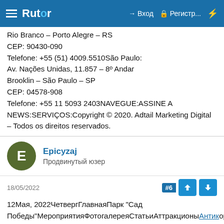Rutor — Вход — Регистр...
Rio Branco – Porto Alegre – RS
CEP: 90430-090
Telefone: +55 (51) 4009.5510São Paulo:
Av. Nações Unidas, 11.857 – 8º Andar
Brooklin – São Paulo – SP
CEP: 04578-908
Telefone: +55 11 5093 2403NAVEGUE:ASSINE A NEWS:SERVIÇOS:Copyright © 2020. Adtail Marketing Digital – Todos os direitos reservados.
Epicyzaj
Продвинутый юзер
18/05/2022
12Мая, 2022ЧетвергГлавнаяПарк "Сад Победы"МероприятияФотогалереяСтатьиАттракционыАнтикоррупционныйразделКонтактыВходНеверный логин или